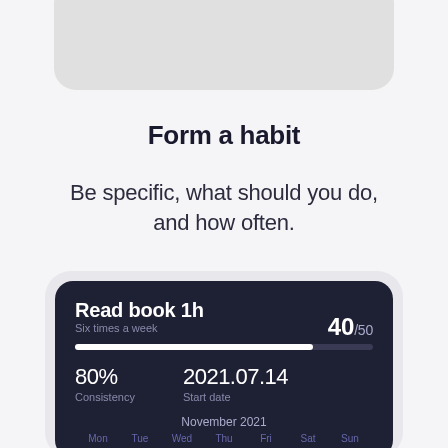[Figure (screenshot): Top partial screenshot of a mobile app card with light grey rounded rectangle]
Form a habit
Be specific, what should you do, and how often.
[Figure (screenshot): Bottom partial screenshot of a dark habit tracker app card showing 'Read book 1h', 'Six times a week', '40/50', progress bar, '80% Consistency', '2021.07.14 Start date', 'November 2021' calendar header, and day labels Mon Tue Wed Thu Fri Sat Sun]